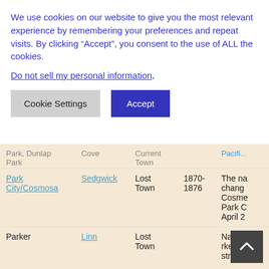We use cookies on our website to give you the most relevant experience by remembering your preferences and repeat visits. By clicking “Accept”, you consent to the use of ALL the cookies.
Do not sell my personal information.
Cookie Settings   Accept
| Name | County | Status | Years | Notes |
| --- | --- | --- | --- | --- |
| Park, Dunlap Park | Cove | Current Town |  | On the Pacifi... |
| Park City/Cosmosa | Sedgwick | Lost Town | 1870-1876 | The na chang... Cosme... Park C... April 2... |
| Parker | Linn | Lost Town |  | Name... rker... stm... |